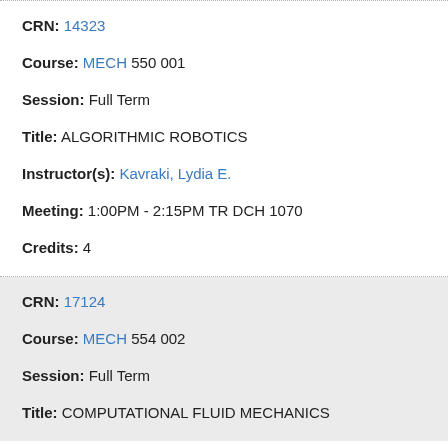CRN: 14323
Course: MECH 550 001
Session: Full Term
Title: ALGORITHMIC ROBOTICS
Instructor(s): Kavraki, Lydia E.
Meeting: 1:00PM - 2:15PM TR DCH 1070
Credits: 4
CRN: 17124
Course: MECH 554 002
Session: Full Term
Title: COMPUTATIONAL FLUID MECHANICS